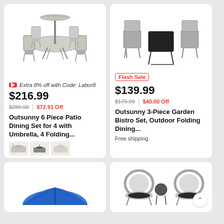[Figure (photo): Patio dining set with 4 folding chairs and umbrella]
Extra 8% off with Code: Labor8
$216.99
$289.90 | $72.91 Off
Outsunny 6 Piece Patio Dining Set for 4 with Umbrella, 4 Folding...
[Figure (photo): Thumbnail variants of patio dining set]
★★★★★ 34
Free shipping
Flash Sale
[Figure (photo): 3-piece garden bistro folding set with two chairs and table]
$139.99
$179.99 | $40.00 Off
Outsunny 3-Piece Garden Bistro Set, Outdoor Folding Dining...
Free shipping
[Figure (photo): Rattan outdoor seating set with cushioned chairs and round table]
[Figure (photo): Partial blue umbrella visible at bottom left]